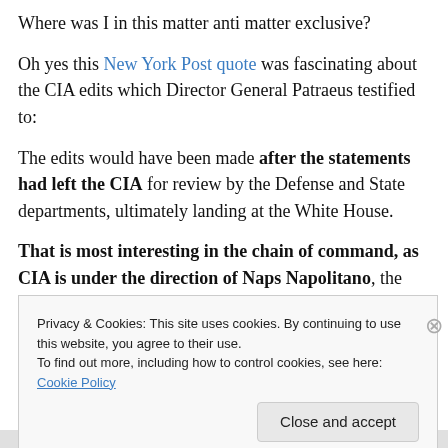Where was I in this matter anti matter exclusive?
Oh yes this New York Post quote was fascinating about the CIA edits which Director General Patraeus testified to:
The edits would have been made after the statements had left the CIA for review by the Defense and State departments, ultimately landing at the White House.
That is most interesting in the chain of command, as CIA is under the direction of Naps Napolitano, the employer of large chested women for minding large
Privacy & Cookies: This site uses cookies. By continuing to use this website, you agree to their use.
To find out more, including how to control cookies, see here: Cookie Policy
Close and accept